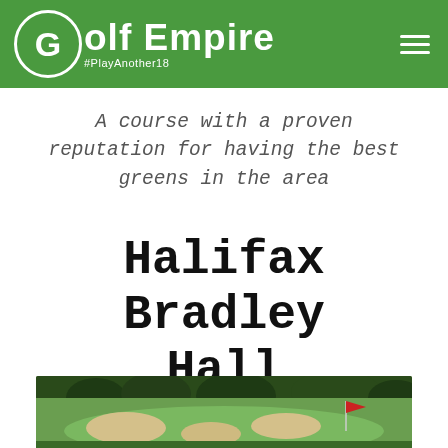Golf Empire #PlayAnother18
A course with a proven reputation for having the best greens in the area
Halifax Bradley Hall
[Figure (photo): Golf course photo showing green fairway with sand bunkers and a red flag on the green]